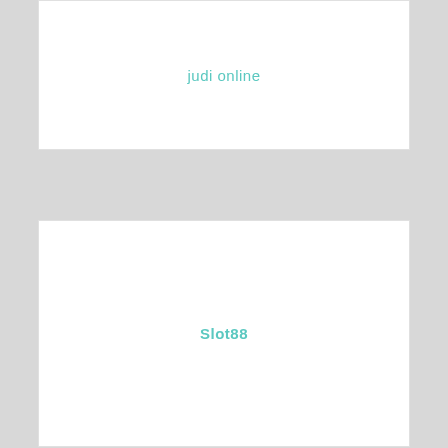[Figure (other): Card box with centered teal text reading 'judi online']
[Figure (other): Card box with centered teal bold text reading 'Slot88']
[Figure (other): Card box with centered teal text reading 'judi slot online']
[Figure (other): Card box with centered teal bold text reading 'situs slot online indonesia']